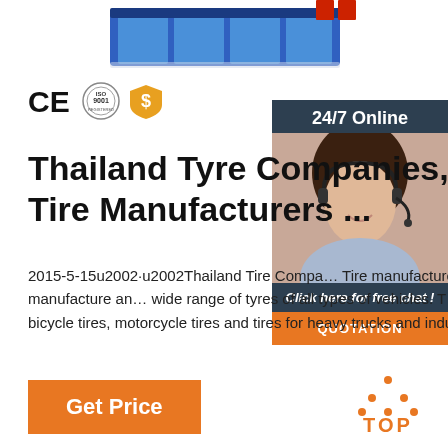[Figure (photo): Partial top view of an industrial machine (blue and white) cropped at the top of the page]
[Figure (logo): CE mark, ISO 9001 certification circle badge, and orange dollar shield badge]
Thailand Tyre Companies, Th Tire Manufacturers ...
2015-5-15u2002·u2002Thailand Tire Companies - Tire manufacturers produce, manufacture and wide range of tyres of all types of vehicles. T Automobile tires, bicycle tires, motorcycle tires and tires for heavy trucks and industrial vehicles.
[Figure (photo): 24/7 Online sidebar with photo of female customer service agent wearing headset, Chat and Quotation buttons]
Get Price
[Figure (logo): TOP badge with orange dot triangle icon and orange TOP text]